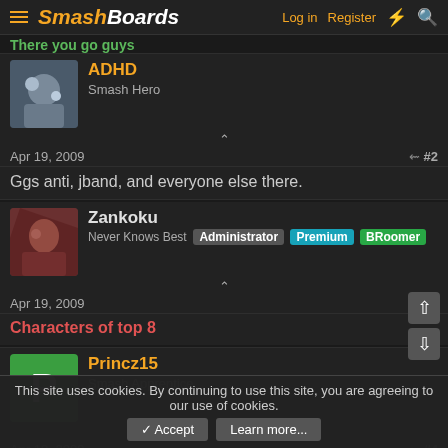There you go guys — SmashBoards — Log in Register
There you go guys
ADHD
Smash Hero
Apr 19, 2009  #2
Ggs anti, jband, and everyone else there.
Zankoku
Never Knows Best  Administrator  Premium  BRoomer
Apr 19, 2009  #3
Characters of top 8
Princz15
Smash Apprentice
Apr 19, 2009  #4
This site uses cookies. By continuing to use this site, you are agreeing to our use of cookies.
✓ Accept  Learn more...